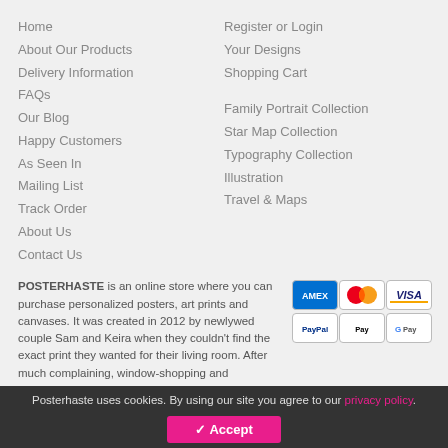Home
About Our Products
Delivery Information
FAQs
Our Blog
Happy Customers
As Seen In
Mailing List
Track Order
About Us
Contact Us
Register or Login
Your Designs
Shopping Cart
Family Portrait Collection
Star Map Collection
Typography Collection
Illustration
Travel & Maps
POSTERHASTE is an online store where you can purchase personalized posters, art prints and canvases. It was created in 2012 by newlywed couple Sam and Keira when they couldn't find the exact print they wanted for their living room. After much complaining, window-shopping and designing, Posterhaste was born.
Unlike other stores we want you to be able to see your custom design before you order. That way you'll be happy with your design before it arrives to live with you.
You can follow us on Instagram, Twitter and find us on Facebook.
[Figure (other): Payment method icons: AMEX, Mastercard, VISA, PayPal, Apple Pay, Google Pay]
| Regional Store | UK | US |
| --- | --- | --- |
Posterhaste uses cookies. By using our site you agree to our privacy policy.